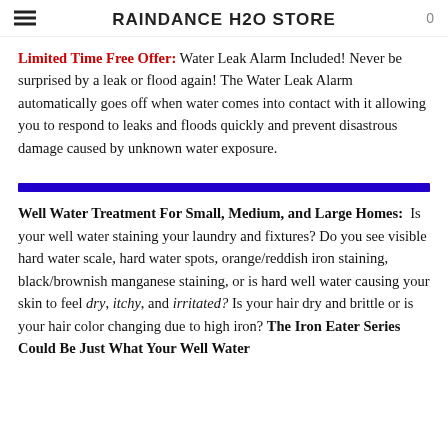RAINDANCE H2O STORE
Limited Time Free Offer: Water Leak Alarm Included! Never be surprised by a leak or flood again! The Water Leak Alarm automatically goes off when water comes into contact with it allowing you to respond to leaks and floods quickly and prevent disastrous damage caused by unknown water exposure.
Well Water Treatment For Small, Medium, and Large Homes: Is your well water staining your laundry and fixtures? Do you see visible hard water scale, hard water spots, orange/reddish iron staining, black/brownish manganese staining, or is hard well water causing your skin to feel dry, itchy, and irritated? Is your hair dry and brittle or is your hair color changing due to high iron? The Iron Eater Series Could Be Just What Your Well Water